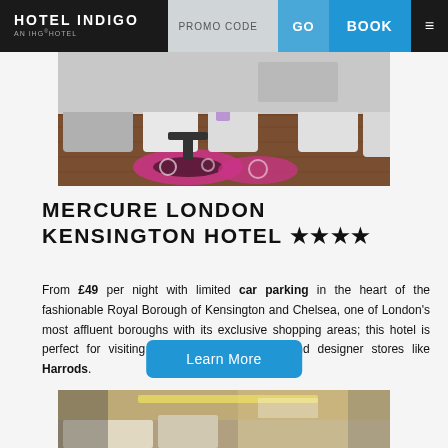HOTEL INDIGO AN IHG HOTEL | PROMO CODE | GO | BOOK
[Figure (photo): Hotel lobby interior with lounge chairs, wooden floors, and decorative rugs in pink and black swirl patterns]
MERCURE LONDON KENSINGTON HOTEL ★★★★
From £49 per night with limited car parking in the heart of the fashionable Royal Borough of Kensington and Chelsea, one of London's most affluent boroughs with its exclusive shopping areas; this hotel is perfect for visiting the London museums and designer stores like Harrods.
[Figure (photo): Hotel room interior with modern lighting and decor, partially visible at bottom of page]